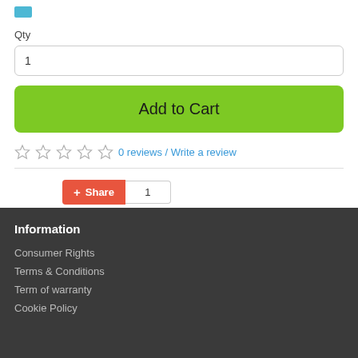[Figure (logo): Small blue/teal logo icon in top-left corner]
Qty
1
Add to Cart
0 reviews / Write a review
Share 1
Information
Consumer Rights
Terms & Conditions
Term of warranty
Cookie Policy